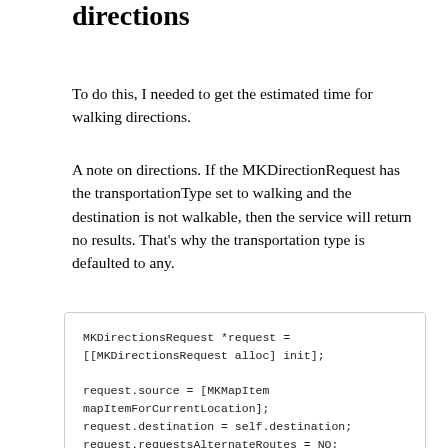directions
To do this, I needed to get the estimated time for walking directions.
A note on directions. If the MKDirectionRequest has the transportationType set to walking and the destination is not walkable, then the service will return no results. That's why the transportation type is defaulted to any.
MKDirectionsRequest *request =
[[MKDirectionsRequest alloc] init];

request.source = [MKMapItem
mapItemForCurrentLocation];
request.destination = self.destination;
request.requestsAlternateRoutes = NO;
request.transportType =
MKDirectionsTransportTypeWalking;